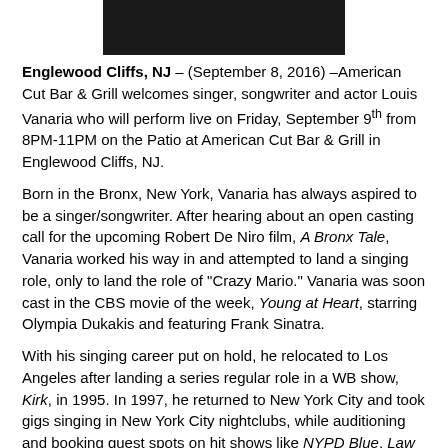[Figure (photo): Partial photo of a person, dark background, only lower portion visible]
Englewood Cliffs, NJ – (September 8, 2016) –American Cut Bar & Grill welcomes singer, songwriter and actor Louis Vanaria who will perform live on Friday, September 9th from 8PM-11PM on the Patio at American Cut Bar & Grill in Englewood Cliffs, NJ.
Born in the Bronx, New York, Vanaria has always aspired to be a singer/songwriter. After hearing about an open casting call for the upcoming Robert De Niro film, A Bronx Tale, Vanaria worked his way in and attempted to land a singing role, only to land the role of "Crazy Mario." Vanaria was soon cast in the CBS movie of the week, Young at Heart, starring Olympia Dukakis and featuring Frank Sinatra.
With his singing career put on hold, he relocated to Los Angeles after landing a series regular role in a WB show, Kirk, in 1995. In 1997, he returned to New York City and took gigs singing in New York City nightclubs, while auditioning and booking guest spots on hit shows like NYPD Blue, Law & Order and Third Watch. He also landed lead roles in the independent film Men of Brooklyn starring A...